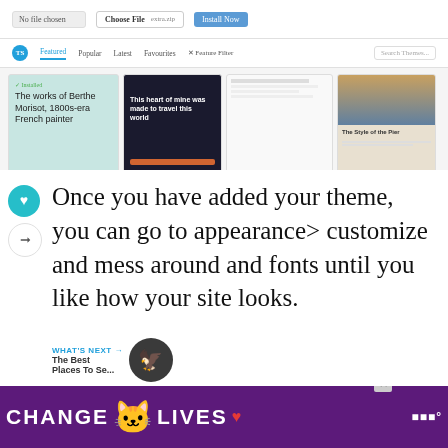[Figure (screenshot): Screenshot of a WordPress admin theme installer interface showing a file upload bar at the top, tab navigation with Featured/Popular/Latest/Favourites/Feature Filter options, and a grid of theme previews including an installed teal-colored theme showing 'The works of Berthe Morisot, 1800s-era French painter', a dark travel theme, and two others.]
Once you have added your theme, you can go to appearance> customize and mess around and fonts until you like how your site looks.
[Figure (screenshot): Ad banner reading CHANGE LIVES with a cat photo, purple background, close button X, and a podcast logo on the right.]